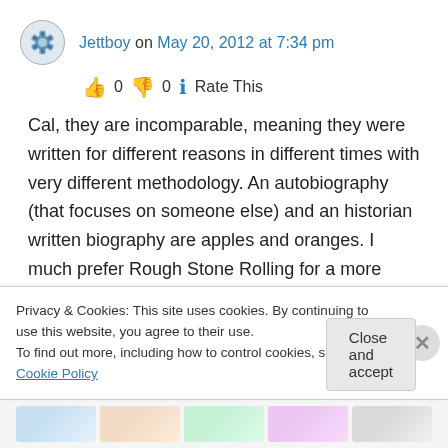Jettboy on May 20, 2012 at 7:34 pm
👍 0 👎 0 ℹ Rate This
Cal, they are incomparable, meaning they were written for different reasons in different times with very different methodology. An autobiography (that focuses on someone else) and an historian written biography are apples and oranges. I much prefer Rough Stone Rolling for a more rounded look at Joseph's personality
Privacy & Cookies: This site uses cookies. By continuing to use this website, you agree to their use.
To find out more, including how to control cookies, see here: Cookie Policy
Close and accept